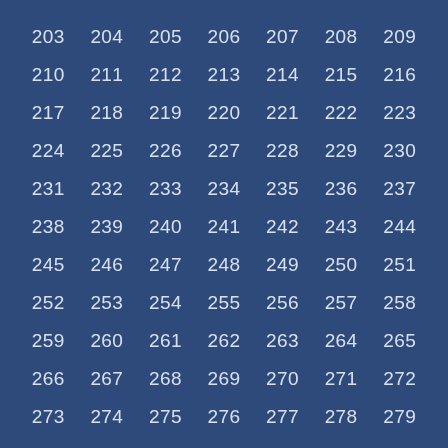| 203 | 204 | 205 | 206 | 207 | 208 | 209 |
| 210 | 211 | 212 | 213 | 214 | 215 | 216 |
| 217 | 218 | 219 | 220 | 221 | 222 | 223 |
| 224 | 225 | 226 | 227 | 228 | 229 | 230 |
| 231 | 232 | 233 | 234 | 235 | 236 | 237 |
| 238 | 239 | 240 | 241 | 242 | 243 | 244 |
| 245 | 246 | 247 | 248 | 249 | 250 | 251 |
| 252 | 253 | 254 | 255 | 256 | 257 | 258 |
| 259 | 260 | 261 | 262 | 263 | 264 | 265 |
| 266 | 267 | 268 | 269 | 270 | 271 | 272 |
| 273 | 274 | 275 | 276 | 277 | 278 | 279 |